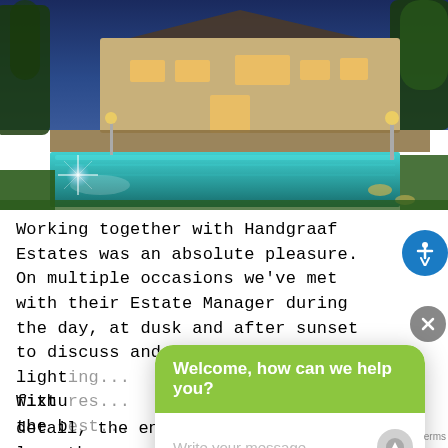[Figure (photo): Luxury estate at dusk with illuminated pool and mansion in the background, surrounded by trees and landscaped garden]
Working together with Handgraaf Estates was an absolute pleasure. On multiple occasions we've met with their Estate Manager during the day, at dusk and after sunset to discuss and evaluate the light... fixtu... the b...
With detail, the end result was nothing less than
[Figure (screenshot): Chat widget overlay with green header saying 'Welcome, how can we help you?' and input field 'Write your message...' with send button]